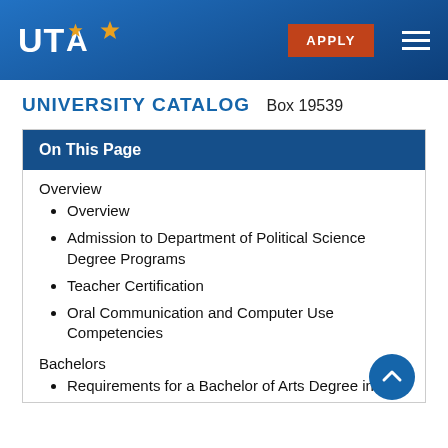UTA — University of Texas at Arlington — APPLY
UNIVERSITY CATALOG
Box 19539
On This Page
Overview
Overview
Admission to Department of Political Science Degree Programs
Teacher Certification
Oral Communication and Computer Use Competencies
Bachelors
Requirements for a Bachelor of Arts Degree in